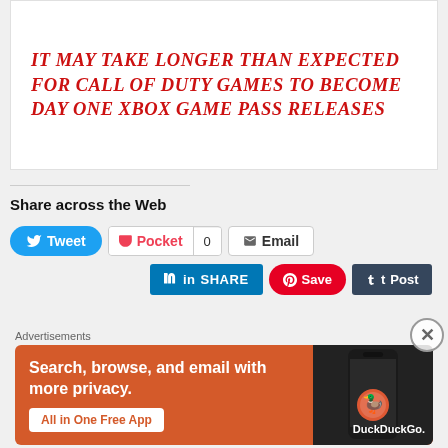IT MAY TAKE LONGER THAN EXPECTED FOR CALL OF DUTY GAMES TO BECOME DAY ONE XBOX GAME PASS RELEASES
Share across the Web
[Figure (screenshot): Social sharing buttons: Tweet, Pocket (0), Email, LinkedIn SHARE, Pinterest Save, Tumblr Post]
[Figure (infographic): DuckDuckGo advertisement banner: Search, browse, and email with more privacy. All in One Free App]
Advertisements